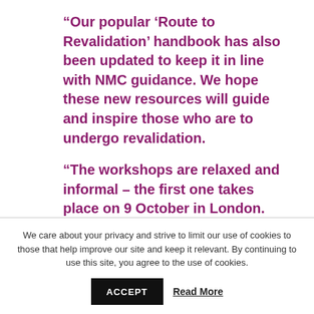“Our popular ‘Route to Revalidation’ handbook has also been updated to keep it in line with NMC guidance. We hope these new resources will guide and inspire those who are to undergo revalidation.
“The workshops are relaxed and informal – the first one takes place on 9 October in London.  This
We care about your privacy and strive to limit our use of cookies to those that help improve our site and keep it relevant. By continuing to use this site, you agree to the use of cookies.